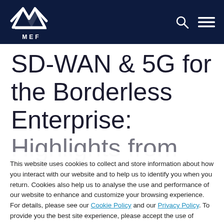MEF
SD-WAN & 5G for the Borderless Enterprise: Highlights from MEF
This website uses cookies to collect and store information about how you interact with our website and to help us to identify you when you return. Cookies also help us to analyse the use and performance of our website to enhance and customize your browsing experience. For details, please see our Cookie Policy and our Privacy Policy. To provide you the best site experience, please accept the use of cookies.
Accept